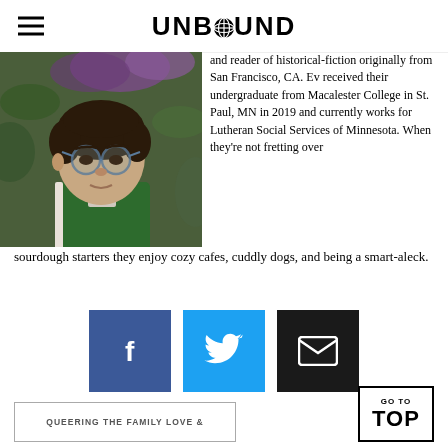UNBOUND
[Figure (photo): Portrait photo of a young person with short dark hair and round glasses, wearing a green jacket, photographed against a leafy background with purple flowers.]
and reader of historical-fiction originally from San Francisco, CA. Ev received their undergraduate from Macalester College in St. Paul, MN in 2019 and currently works for Lutheran Social Services of Minnesota. When they're not fretting over sourdough starters they enjoy cozy cafes, cuddly dogs, and being a smart-aleck.
[Figure (infographic): Social sharing buttons: Facebook (blue), Twitter (light blue), Email (black)]
GO TO TOP
QUEERING THE FAMILY LOVE &